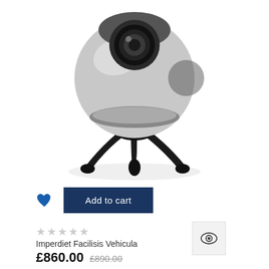[Figure (photo): 360-degree camera on a tripod stand, silver and black, shown from the front-bottom perspective against a white background]
Add to cart
★★★★★ (empty stars)
Imperdiet Facilisis Vehicula
£860.00  £890.00